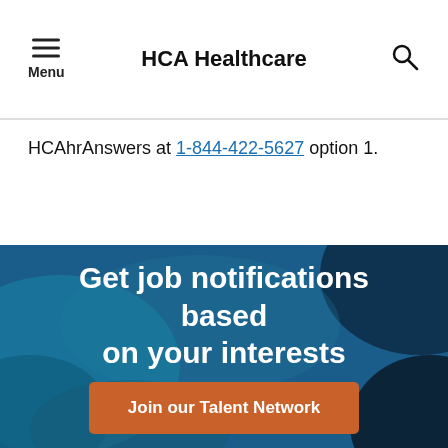HCA Healthcare
HCAhrAnswers at 1-844-422-5627 option 1.
[Figure (infographic): Blue abstract background banner with text 'Get job notifications based on your interests' and a button 'Join our Talent Network']
Get job notifications based on your interests
Join our Talent Network